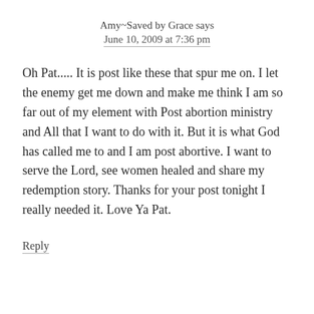Amy~Saved by Grace says
June 10, 2009 at 7:36 pm
Oh Pat..... It is post like these that spur me on. I let the enemy get me down and make me think I am so far out of my element with Post abortion ministry and All that I want to do with it. But it is what God has called me to and I am post abortive. I want to serve the Lord, see women healed and share my redemption story. Thanks for your post tonight I really needed it. Love Ya Pat.
Reply